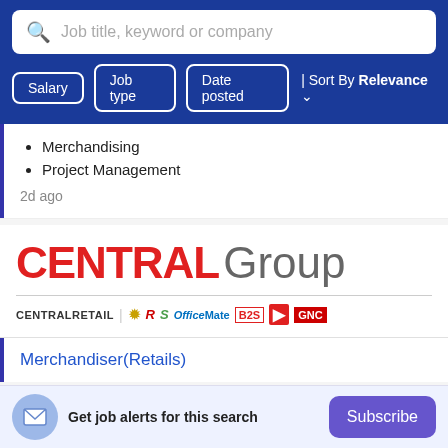[Figure (screenshot): Search bar with magnifying glass icon and placeholder text 'Job title, keyword or company']
[Figure (screenshot): Filter buttons: Salary, Job type, Date posted, and Sort By Relevance dropdown on dark blue background]
Merchandising
Project Management
2d ago
[Figure (logo): CENTRAL Group logo with sub-brands: CENTRALRETAIL, OfficeMate, B2S and others]
Merchandiser(Retails)
Get job alerts for this search